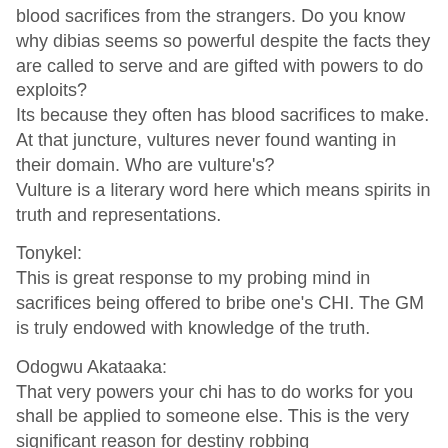blood sacrifices from the strangers. Do you know why dibias seems so powerful despite the facts they are called to serve and are gifted with powers to do exploits? Its because they often has blood sacrifices to make. At that juncture, vultures never found wanting in their domain. Who are vulture's? Vulture is a literary word here which means spirits in truth and representations.
Tonykel:
This is great response to my probing mind in sacrifices being offered to bribe one's CHI. The GM is truly endowed with knowledge of the truth.
Odogwu Akataaka:
That very powers your chi has to do works for you shall be applied to someone else. This is the very significant reason for destiny robbing
Or don't you know that we have destiny robbers?
Tonykel:
This is a great mystery revealed.
Odogwu Akataaka:
If you don't know, hear it from me that I said MMUO DIKE